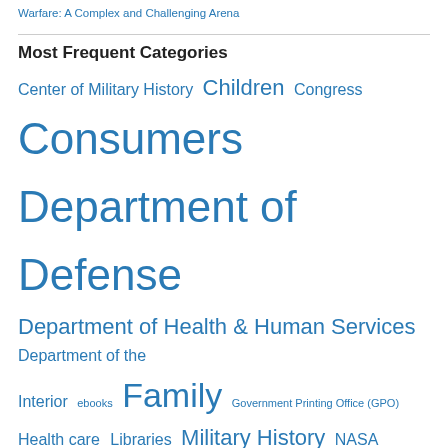Warfare: A Complex and Challenging Arena
Most Frequent Categories
Center of Military History Children Congress Consumers Department of Defense Department of Health & Human Services Department of the Interior ebooks Family Government Printing Office (GPO) Health care Libraries Military History NASA National Park Service Travel and Tourism U.S. Army U.S. History U.S. Navy
Most Frequent Tags
Afghanistan african american history American history armed forces